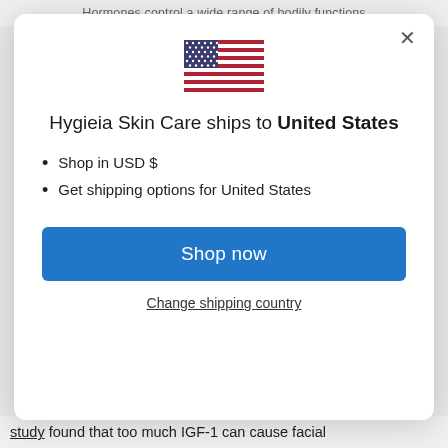Hormones control a wide range of bodily functions
[Figure (illustration): US flag icon]
Hygieia Skin Care ships to United States
Shop in USD $
Get shipping options for United States
Shop now
Change shipping country
study found that too much IGF-1 can cause facial